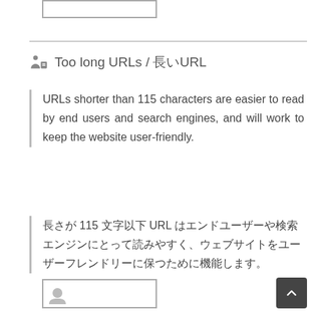[Figure (other): Top rectangle UI placeholder box]
Too long URLs / 長いURL
URLs shorter than 115 characters are easier to read by end users and search engines, and will work to keep the website user-friendly.
長さが 115 文字以下 URL はエンドユーザーや検索エンジンにとって読みやすく、ウェブサイトをユーザーフレンドリーに保つために機能します。
[Figure (other): Bottom rectangle UI placeholder box with icon]
[Figure (other): Scroll-to-top button]